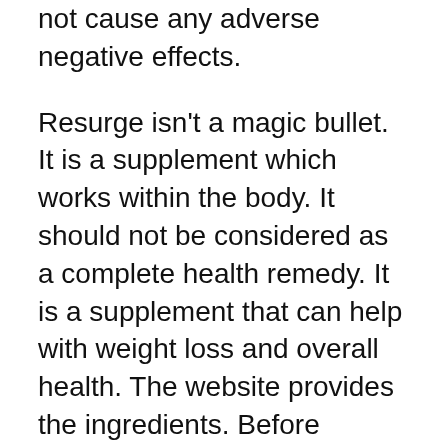not cause any adverse negative effects.
Resurge isn't a magic bullet. It is a supplement which works within the body. It should not be considered as a complete health remedy. It is a supplement that can help with weight loss and overall health. The website provides the ingredients. Before purchasing, be sure you read these. Contact the manufacturer in case you are doubtful about the effectiveness of Resurge. You can read reviews to determine whether the product is tested safe.
The ingredients in it can be utilized safely. In fact, many of them are found in similar products. There are no adverse negative effects associated with Resurge, but it is a